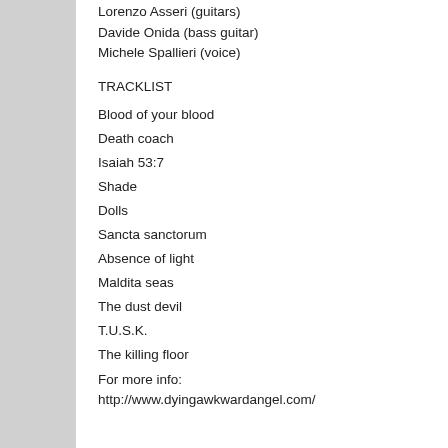Lorenzo Asseri (guitars)
Davide Onida (bass guitar)
Michele Spallieri (voice)
TRACKLIST
Blood of your blood
Death coach
Isaiah 53:7
Shade
Dolls
Sancta sanctorum
Absence of light
Maldita seas
The dust devil
T.U.S.K.
The killing floor
For more info:
http://www.dyingawkwardangel.com/